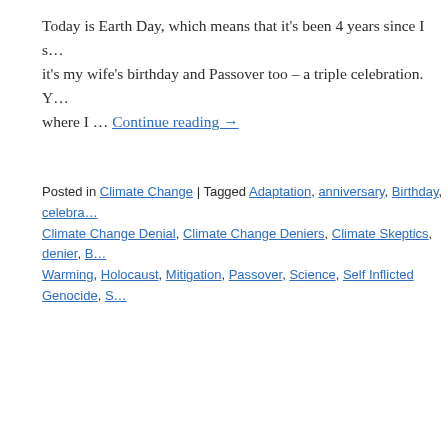Today is Earth Day, which means that it's been 4 years since I s… it's my wife's birthday and Passover too – a triple celebration. Y… where I … Continue reading →
Posted in Climate Change | Tagged Adaptation, anniversary, Birthday, celebra…, Climate Change Denial, Climate Change Deniers, Climate Skeptics, denier, B… Warming, Holocaust, Mitigation, Passover, Science, Self Inflicted Genocide, S…